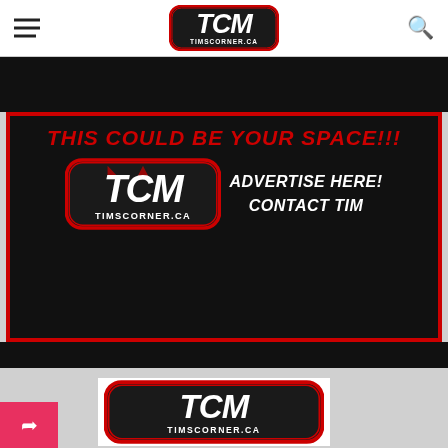TCM TIMSCORNER.CA navigation header
[Figure (logo): TCM TimsCorner.ca logo in navigation bar]
[Figure (infographic): Black advertisement banner with red border. Text: 'THIS COULD BE YOUR SPACE!!!' in red italic. TCM TimsCorner.ca logo on left. 'ADVERTISE HERE! CONTACT TIM' in white bold italic on right.]
[Figure (logo): TCM TimsCorner.ca logo on white card in gray section]